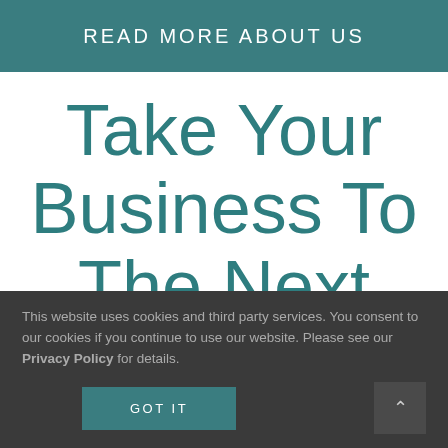READ MORE ABOUT US
Take Your Business To The Next
This website uses cookies and third party services. You consent to our cookies if you continue to use our website. Please see our Privacy Policy for details.
GOT IT